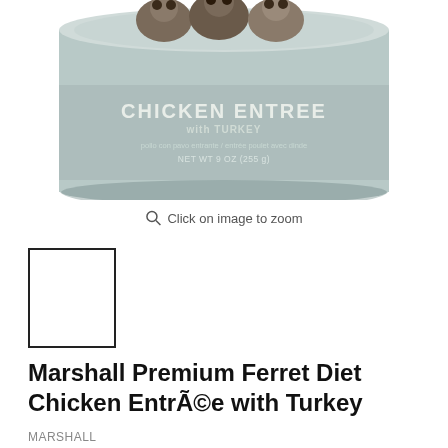[Figure (photo): Product can of Marshall Premium Ferret Diet Chicken Entree with Turkey, 9 oz (255g). The can shows ferrets on the label with a muted teal/grey color scheme. Label reads 'CHICKEN ENTREE with TURKEY', 'pollo con pavo entrante / entrée poulet avec dinde', 'NET WT 9 OZ (255 g)'.]
Click on image to zoom
[Figure (photo): Small thumbnail of the product can image (selected state, with border).]
Marshall Premium Ferret Diet Chicken Entrée with Turkey
MARSHALL